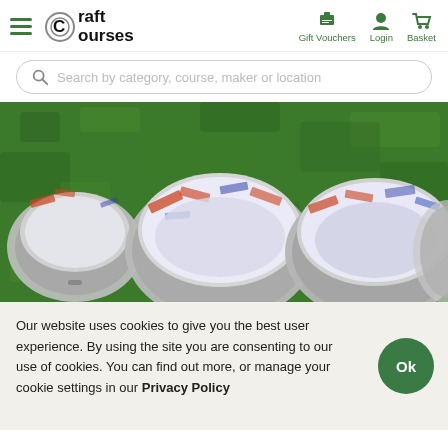Craft Courses — Gift Vouchers, Login, Basket
Search by category, course, maker or location
[Figure (photo): Aerial view of three open metal tins containing shredded paper packing material, placed on green grass. The tins appear to be lined with newspaper and shredded blue/white paper. Part of a fourth tin is visible on the right edge.]
Our website uses cookies to give you the best user experience. By using the site you are consenting to our use of cookies. You can find out more, or manage your cookie settings in our Privacy Policy